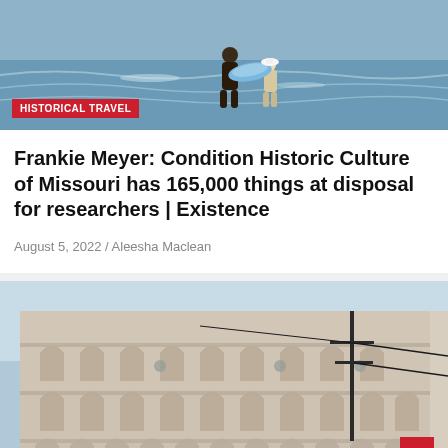[Figure (photo): Beach scene with two people carrying a blue surfboard or float along the shoreline with waves in the background]
HISTORICAL TRAVEL
Frankie Meyer: Condition Historic Culture of Missouri has 165,000 things at disposal for researchers | Existence
August 5, 2022 / Aleesha Maclean
[Figure (photo): Large ornate white colonial-style building with multiple arched balconies across several floors, surrounded by greenery]
FOODS & CULINARY